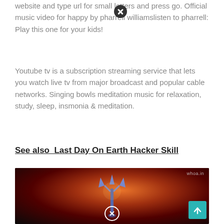website and type url for small letters and press go. Official music video for happy by pharrell williamslisten to pharrell: Play this one for your kids!
Youtube tv is a subscription streaming service that lets you watch live tv from major broadcast and popular cable networks. Singing bowls meditation music for relaxation, study, sleep, insmonia & meditation.
See also  Last Day On Earth Hacker Skill
[Figure (photo): Dark image showing a trident/trishul weapon against a fiery orange and red cosmic background. Watermark 'whoa.in' visible in top right. UI overlays: close (X) button top center-right, scroll-to-top teal button bottom right, close (X) circle button bottom center.]